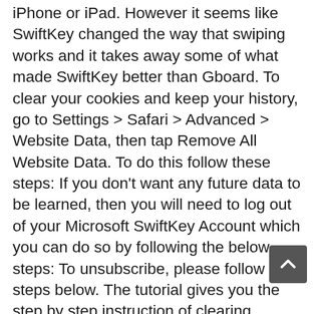iPhone or iPad. However it seems like SwiftKey changed the way that swiping works and it takes away some of what made SwiftKey better than Gboard. To clear your cookies and keep your history, go to Settings > Safari > Advanced > Website Data, then tap Remove All Website Data. To do this follow these steps: If you don't want any future data to be learned, then you will need to log out of your Microsoft SwiftKey Account which you can do so by following the below steps: To unsubscribe, please follow the steps below. The tutorial gives you the step by step instruction of clearing history in Apple iPhone. ; Find the app you want to download by browsing the Today, Games, or Apps section, or search for the app using the Search tab. Open the App Store on your iPhone or iPad and search for SwiftKey. No matter the model or condition, we can turn your device into something good for you and good for the planet. Microsoft SwiftKey gives you more accurate autocorrect and predictions by learning your writing style - including the words, phrases, and emoji that matter to you. 2. Any ideas? You can turn these off by following the steps below: If you sign up for a Microsoft SwiftKey Account, some data may shared with Microsoft SwiftKey in accordance with our.